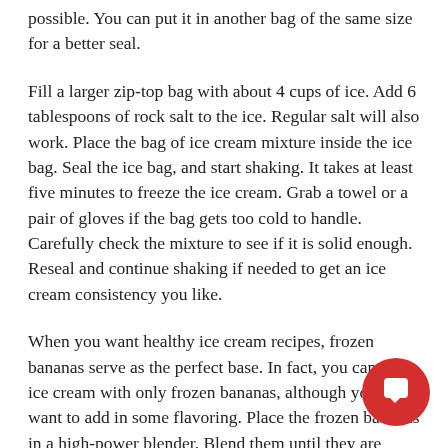possible. You can put it in another bag of the same size for a better seal.
Fill a larger zip-top bag with about 4 cups of ice. Add 6 tablespoons of rock salt to the ice. Regular salt will also work. Place the bag of ice cream mixture inside the ice bag. Seal the ice bag, and start shaking. It takes at least five minutes to freeze the ice cream. Grab a towel or a pair of gloves if the bag gets too cold to handle. Carefully check the mixture to see if it is solid enough. Reseal and continue shaking if needed to get an ice cream consistency you like.
When you want healthy ice cream recipes, frozen bananas serve as the perfect base. In fact, you can make ice cream with only frozen bananas, although you may want to add in some flavoring. Place the frozen bananas in a high-power blender. Blend them until they are smooth. This can take several minutes, so be patient as the frozen bananas become creamy and similar to ice